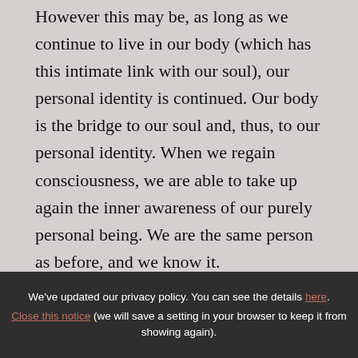However this may be, as long as we continue to live in our body (which has this intimate link with our soul), our personal identity is continued. Our body is the bridge to our soul and, thus, to our personal identity. When we regain consciousness, we are able to take up again the inner awareness of our purely personal being. We are the same person as before, and we know it.

When at death the soul separates from the
We've updated our privacy policy. You can see the details here. Close this notice (we will save a setting in your browser to keep it from showing again).